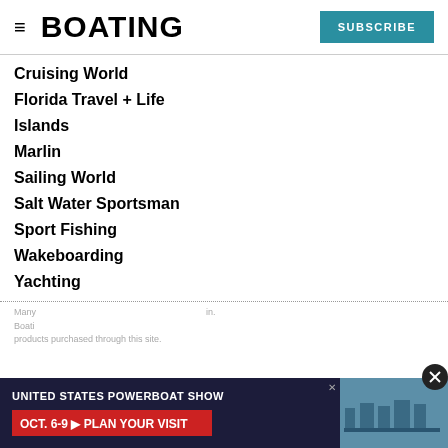BOATING | SUBSCRIBE
Cruising World
Florida Travel + Life
Islands
Marlin
Sailing World
Salt Water Sportsman
Sport Fishing
Wakeboarding
Yachting
Many products purchased through this site.
[Figure (screenshot): Advertisement banner for United States Powerboat Show, Oct. 6-9, Plan Your Visit, with image of boats]